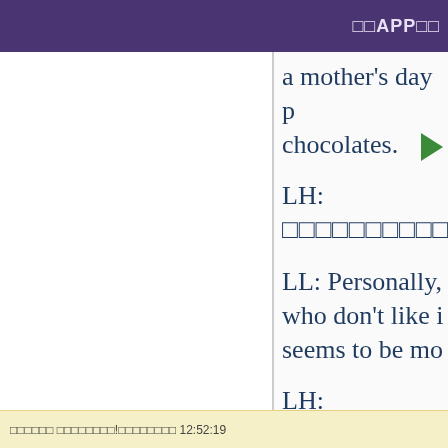□□APP□□
a mother's day p chocolates. ▶
LH: □□□□□□□□□□□□
LL: Personally, who don't like i seems to be mo
LH: □□□□□□□□□□□
□□□□□□ □□□□□□□□!□□□□□□□□ 12:52:19